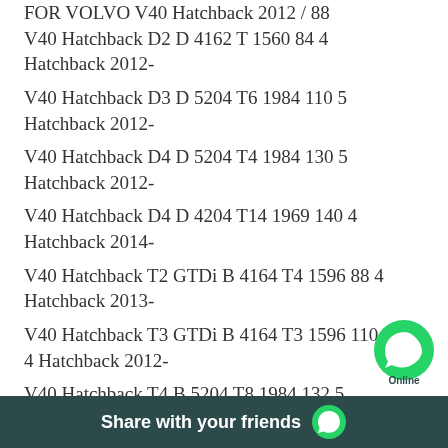FOR VOLVO V40 Hatchback 2012 / 88 V40 Hatchback D2 D 4162 T 1560 84 4 Hatchback 2012-
V40 Hatchback D3 D 5204 T6 1984 110 5 Hatchback 2012-
V40 Hatchback D4 D 5204 T4 1984 130 5 Hatchback 2012-
V40 Hatchback D4 D 4204 T14 1969 140 4 Hatchback 2014-
V40 Hatchback T2 GTDi B 4164 T4 1596 88 4 Hatchback 2013-
V40 Hatchback T3 GTDi B 4164 T3 1596 110 4 Hatchback 2012-
V40 Hatchback T4 B 5204 T8 1984 132 5 Hatchback
Share with your friends